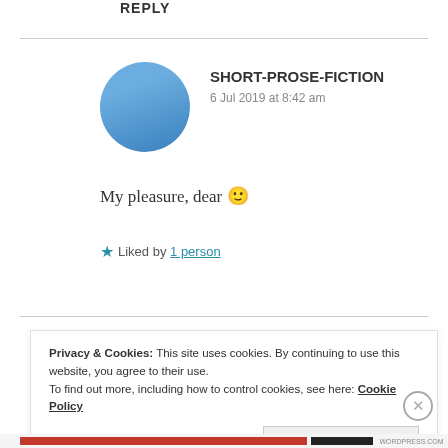REPLY
SHORT-PROSE-FICTION
6 Jul 2019 at 8:42 am
[Figure (illustration): Circular user avatar with blue gradient background]
My pleasure, dear 🙂
★ Liked by 1 person
Privacy & Cookies: This site uses cookies. By continuing to use this website, you agree to their use.
To find out more, including how to control cookies, see here: Cookie Policy
Close and accept